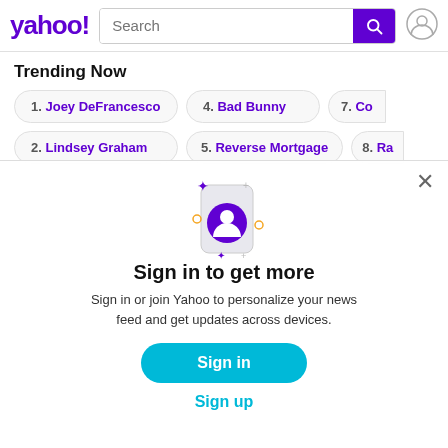yahoo! Search
Trending Now
1. Joey DeFrancesco
4. Bad Bunny
7. Co
2. Lindsey Graham
5. Reverse Mortgage
8. Ra
[Figure (illustration): Yahoo sign-in modal with user icon on phone illustration, sparkle decorations, close button]
Sign in to get more
Sign in or join Yahoo to personalize your news feed and get updates across devices.
Sign in
Sign up